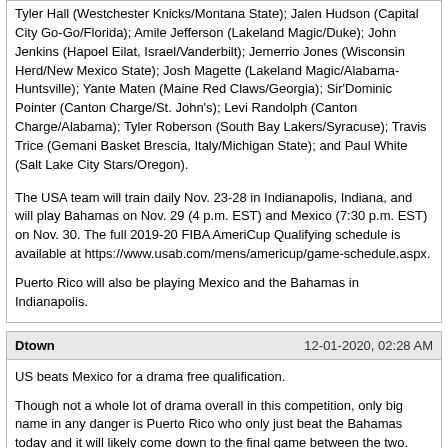Tyler Hall (Westchester Knicks/Montana State); Jalen Hudson (Capital City Go-Go/Florida); Amile Jefferson (Lakeland Magic/Duke); John Jenkins (Hapoel Eilat, Israel/Vanderbilt); Jemerrio Jones (Wisconsin Herd/New Mexico State); Josh Magette (Lakeland Magic/Alabama-Huntsville); Yante Maten (Maine Red Claws/Georgia); Sir'Dominic Pointer (Canton Charge/St. John's); Levi Randolph (Canton Charge/Alabama); Tyler Roberson (South Bay Lakers/Syracuse); Travis Trice (Gemani Basket Brescia, Italy/Michigan State); and Paul White (Salt Lake City Stars/Oregon).
The USA team will train daily Nov. 23-28 in Indianapolis, Indiana, and will play Bahamas on Nov. 29 (4 p.m. EST) and Mexico (7:30 p.m. EST) on Nov. 30. The full 2019-20 FIBA AmeriCup Qualifying schedule is available at https://www.usab.com/mens/americup/game-schedule.aspx.
Puerto Rico will also be playing Mexico and the Bahamas in Indianapolis.
Dtown	12-01-2020, 02:28 AM
US beats Mexico for a drama free qualification.

Though not a whole lot of drama overall in this competition, only big name in any danger is Puerto Rico who only just beat the Bahamas today and it will likely come down to the final game between the two.
Hepcat	12-03-2020, 05:36 PM
I see that Canada has games February 19th against Cuba and February 22nd against the Virgin Islands which Canada now needs to win to be assured of qualifying for AmeriCup 2022.

:eek: